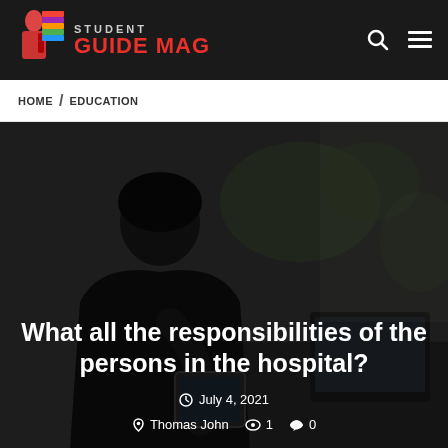STUDENT GUIDE MAG
HOME / EDUCATION
[Figure (photo): Background photo of a student looking down at a tablet or clipboard, in a blurred indoor setting with plants in background, used as hero image behind article title]
What all the responsibilities of the persons in the hospital?
July 4, 2021
Thomas John   1   0